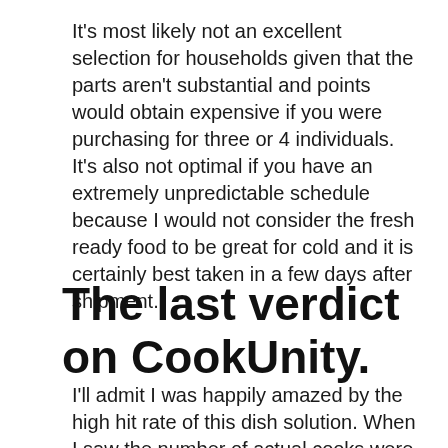It's most likely not an excellent selection for households given that the parts aren't substantial and points would obtain expensive if you were purchasing for three or 4 individuals. It's also not optimal if you have an extremely unpredictable schedule because I would not consider the fresh ready food to be great for cold and it is certainly best taken in a few days after shipment.
The last verdict on CookUnity.
I'll admit I was happily amazed by the high hit rate of this dish solution. When I saw the number of actual cooks were in the kitchen